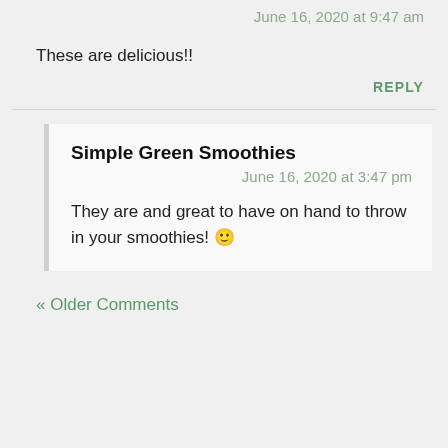June 16, 2020 at 9:47 am
These are delicious!!
REPLY
Simple Green Smoothies
June 16, 2020 at 3:47 pm
They are and great to have on hand to throw in your smoothies! 🙂
« Older Comments